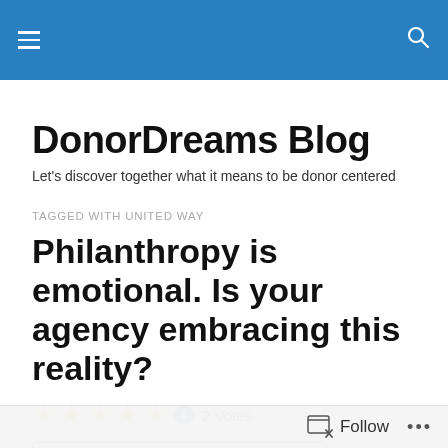DonorDreams Blog — navigation header
DonorDreams Blog
Let's discover together what it means to be donor centered
TAGGED WITH UNITED WAY
Philanthropy is emotional. Is your agency embracing this reality?
★★★★★ ℹ 2 Votes